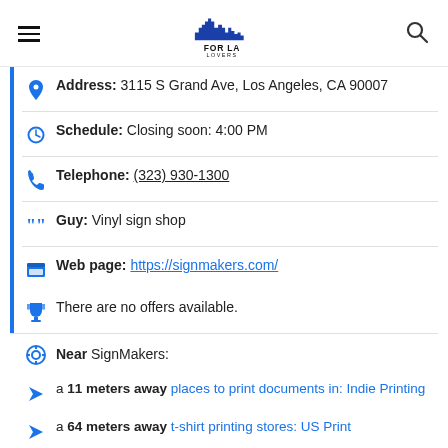FOR LA LOVERS
Address: 3115 S Grand Ave, Los Angeles, CA 90007
Schedule: Closing soon: 4:00 PM
Telephone: (323) 930-1300
Guy: Vinyl sign shop
Web page: https://signmakers.com/
There are no offers available.
Near SignMakers:
a 11 meters away places to print documents in: Indie Printing
a 64 meters away t-shirt printing stores: US Print
a 67 meters away plumbing courses: JW Plumbing,